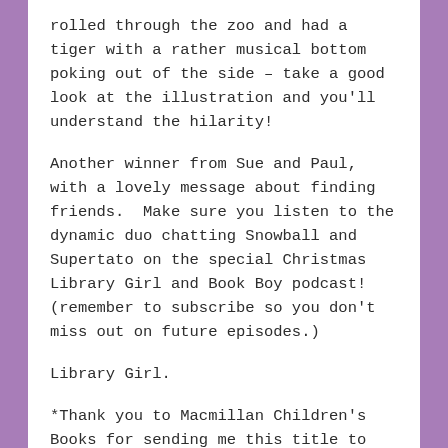rolled through the zoo and had a tiger with a rather musical bottom poking out of the side – take a good look at the illustration and you'll understand the hilarity!
Another winner from Sue and Paul, with a lovely message about finding friends.  Make sure you listen to the dynamic duo chatting Snowball and Supertato on the special Christmas Library Girl and Book Boy podcast! (remember to subscribe so you don't miss out on future episodes.)
Library Girl.
*Thank you to Macmillan Children's Books for sending me this title to review*
SHARE THIS: